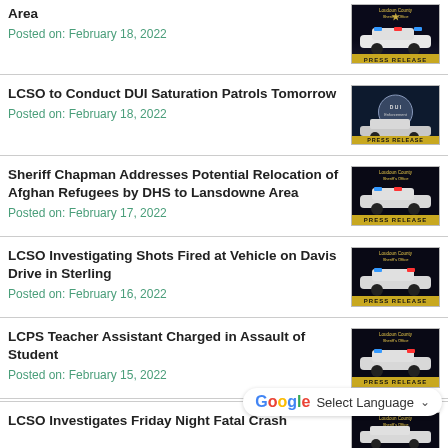Area
Posted on: February 18, 2022
[Figure (photo): Loudoun County Sheriff's Office Press Release badge with police car]
LCSO to Conduct DUI Saturation Patrols Tomorrow
Posted on: February 18, 2022
[Figure (photo): DUI Enforcement image with police car and badge]
Sheriff Chapman Addresses Potential Relocation of Afghan Refugees by DHS to Lansdowne Area
Posted on: February 17, 2022
[Figure (photo): Loudoun County Sheriff's Office Press Release badge with police car]
LCSO Investigating Shots Fired at Vehicle on Davis Drive in Sterling
Posted on: February 16, 2022
[Figure (photo): Loudoun County Sheriff's Office Press Release badge with police car]
LCPS Teacher Assistant Charged in Assault of Student
Posted on: February 15, 2022
[Figure (photo): Loudoun County Sheriff's Office Press Release badge with police car]
LCSO Investigates Friday Night Fatal Crash
[Figure (photo): Loudoun County Sheriff's Office Press Release badge with police car]